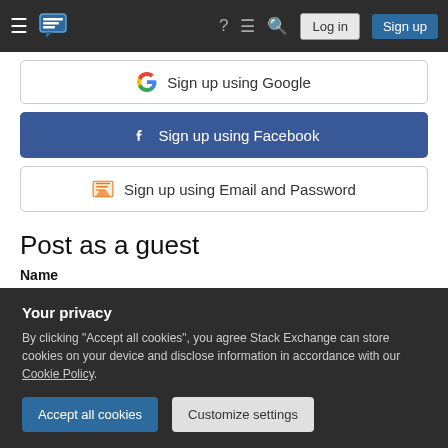Stack Exchange navigation bar with hamburger menu, logo, help, chat, search icons, Log in and Sign up buttons
[Figure (screenshot): Sign up using Google button]
[Figure (screenshot): Sign up using Facebook button (blue background)]
[Figure (screenshot): Sign up using Email and Password button]
Post as a guest
Name
[Figure (screenshot): Empty text input field for Name]
Email
Your privacy
By clicking "Accept all cookies", you agree Stack Exchange can store cookies on your device and disclose information in accordance with our Cookie Policy.
[Figure (screenshot): Accept all cookies and Customize settings buttons in privacy banner]